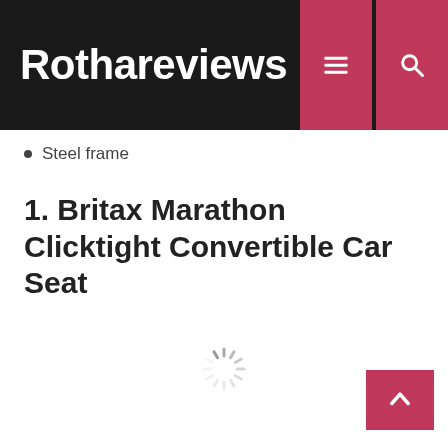Rothareviews
Steel frame
1. Britax Marathon Clicktight Convertible Car Seat
[Figure (other): Loading spinner animation (circular dashed indicator)]